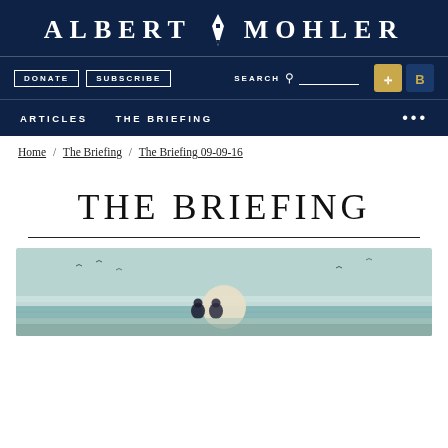ALBERT MOHLER
DONATE  SUBSCRIBE  SEARCH  ARTICLES  THE BRIEFING
Home / The Briefing / The Briefing 09-09-16
THE BRIEFING
[Figure (illustration): Illustration of two people sitting on a beach looking at a large sun or moon on the horizon, muted teal and grey tones, birds in the sky and calm water]